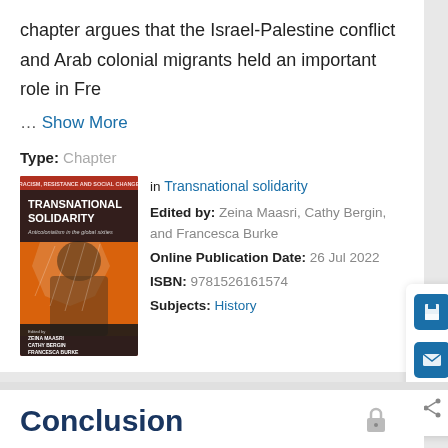chapter argues that the Israel-Palestine conflict and Arab colonial migrants held an important role in Fre
… Show More
Type: Chapter
[Figure (illustration): Book cover of 'Transnational Solidarity: Anticolonialism in the global sixties', edited by Zeina Maasri, Cathy Bergin, Francesca Burke. Red, black and orange cover with figure wearing keffiyeh.]
in Transnational solidarity
Edited by: Zeina Maasri, Cathy Bergin, and Francesca Burke
Online Publication Date: 26 Jul 2022
ISBN: 9781526161574
Subjects: History
Conclusion